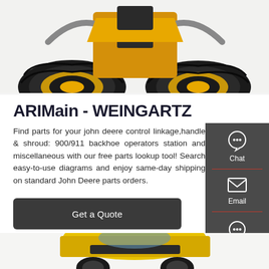[Figure (photo): Top portion of a yellow John Deere wheel loader tractor showing front wheels and body]
ARIMain - WEINGARTZ
Find parts for your john deere control linkage,handle & shroud: 900/911 backhoe operators station and miscellaneous with our free parts lookup tool! Search easy-to-use diagrams and enjoy same-day shipping on standard John Deere parts orders.
[Figure (infographic): Sidebar with Chat, Email, and Contact buttons on dark grey background]
[Figure (photo): Bottom portion showing yellow harvesting equipment]
[Figure (other): Get a Quote button in dark grey]